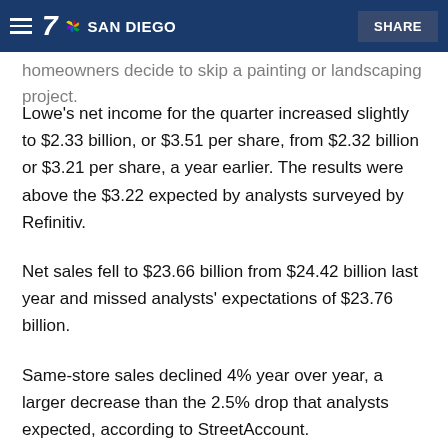7 SAN DIEGO | SHARE
homeowners decide to skip a painting or landscaping project.
Lowe's net income for the quarter increased slightly to $2.33 billion, or $3.51 per share, from $2.32 billion or $3.21 per share, a year earlier. The results were above the $3.22 expected by analysts surveyed by Refinitiv.
Net sales fell to $23.66 billion from $24.42 billion last year and missed analysts' expectations of $23.76 billion.
Same-store sales declined 4% year over year, a larger decrease than the 2.5% drop that analysts expected, according to StreetAccount.